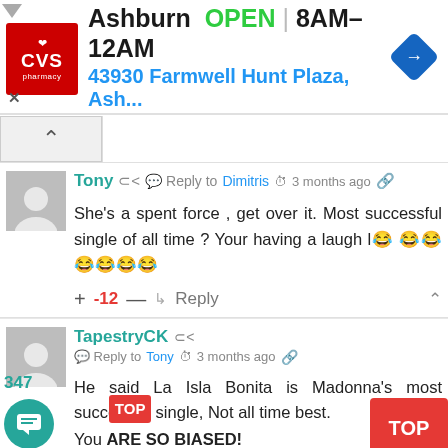[Figure (screenshot): CVS Pharmacy advertisement banner showing Ashburn location, OPEN, hours 8AM-12AM, address 43930 Farmwell Hunt Plaza, Ash..., with CVS logo and navigation arrow icon]
Tony  Reply to Dimitris  3 months ago
She's a spent force , get over it. Most successful single of all time ? Your having a laugh l😂 😂😂😂😂😂😂
+ -12 — Reply ∧
TapestryCK  Reply to Tony  3 months ago
He said La Isla Bonita is Madonna's most successful single, Not all time best.
You ARE SO BIASED!
+ 1 — Reply